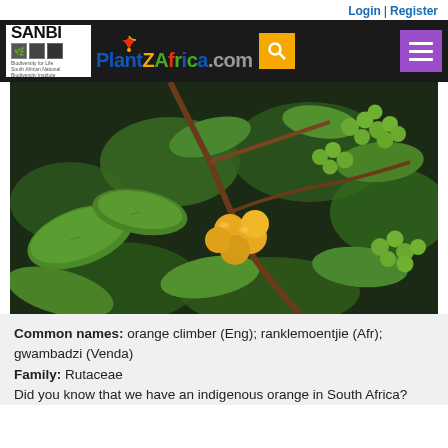Login | Register
[Figure (photo): PlantZAfrica.com website header with SANBI logo, PlantZAfrica.com colorful text logo, search button and menu button on dark background]
[Figure (photo): Close-up photograph of a plant with green leaves and clusters of berries, some green and some yellow-orange (ripe), on a dark background. The plant is the orange climber (Toddalia asiatica).]
Common names: orange climber (Eng); ranklemoentjie (Afr); gwambadzi (Venda)
Family: Rutaceae
Did you know that we have an indigenous orange in South Africa?